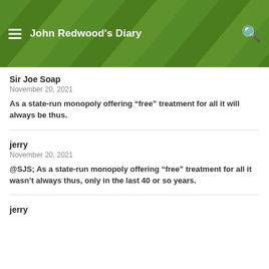John Redwood's Diary
Sir Joe Soap
November 20, 2021
As a state-run monopoly offering “free” treatment for all it will always be thus.
jerry
November 20, 2021
@SJS; As a state-run monopoly offering “free” treatment for all it wasn’t always thus, only in the last 40 or so years.
jerry